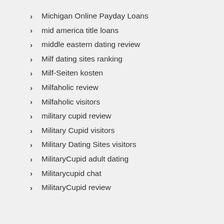Michigan Online Payday Loans
mid america title loans
middle eastern dating review
Milf dating sites ranking
Milf-Seiten kosten
Milfaholic review
Milfaholic visitors
military cupid review
Military Cupid visitors
Military Dating Sites visitors
MilitaryCupid adult dating
Militarycupid chat
MilitaryCupid review